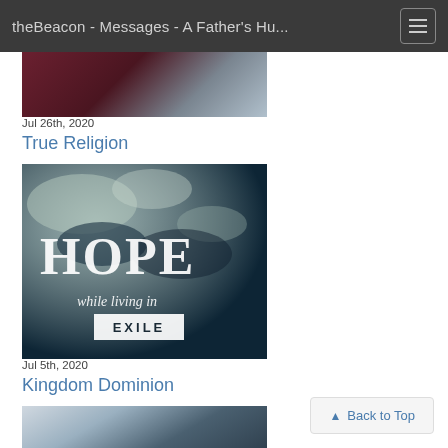theBeacon - Messages - A Father's Hu...
[Figure (photo): Partial image at top, dark red and grey tones, cropped]
Jul 26th, 2020
True Religion
[Figure (photo): HOPE while living in EXILE - ocean waves with text overlay, dark teal tones]
Jul 5th, 2020
Kingdom Dominion
[Figure (photo): Partial image at bottom, ocean tones, cropped]
Back to Top